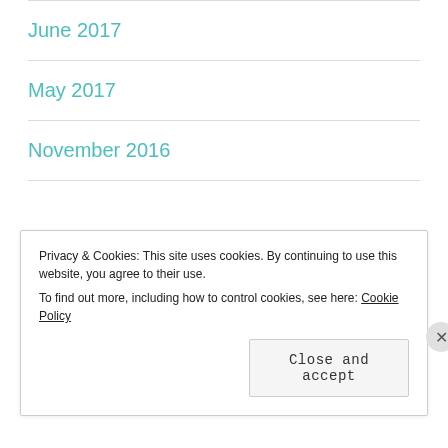June 2017
May 2017
November 2016
Advertisements
[Figure (logo): Jetpack advertisement banner with green background and white logo/text]
Privacy & Cookies: This site uses cookies. By continuing to use this website, you agree to their use.
To find out more, including how to control cookies, see here: Cookie Policy
Close and accept